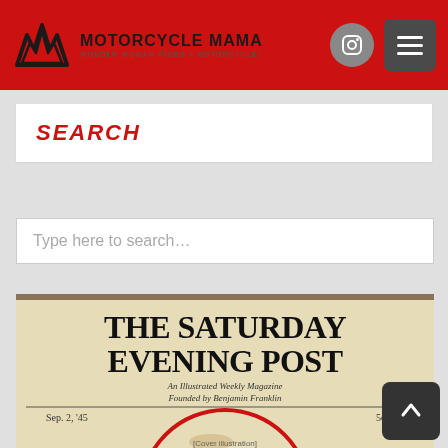MOTORCYCLE MAMA — Wonder Woman Rides a Motorcycle!
SEARCH
Type here to search…
[Figure (illustration): The Saturday Evening Post magazine cover showing Wonder Woman on a motorcycle with a child, Sep. 2, '45, 5c the Copy. An Illustrated Weekly Magazine.]